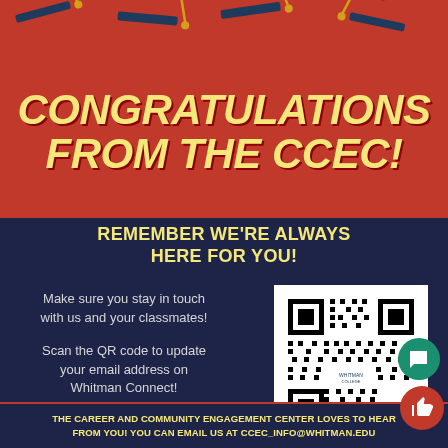[Figure (illustration): Multiple navy blue graduation caps with yellow tassels flying in the air against a red background]
CONGRATULATIONS FROM THE CCEC!
REMEMBER WE'RE ALWAYS HERE FOR YOU!
Make sure you stay in touch with us and your classmates!
Scan the QR code to update your email address on Whitman Connect!
[Figure (other): QR code for Whitman College Career and Community Engagement Center to update email address on Whitman Connect]
THE CAREER AND COMMUNITY ENGAGEMENT CENTER LOVES TO HEAR FROM YOU! YOU CAN EMAIL US AT CCEC_INFO@WHITMAN.EDU